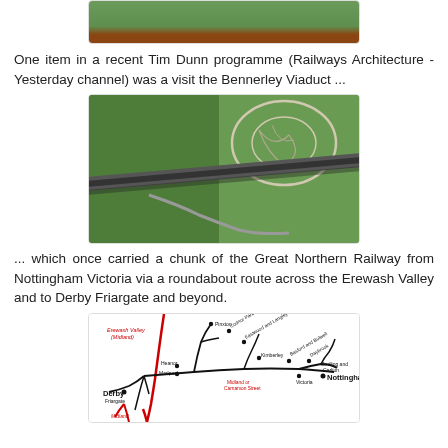[Figure (photo): Partial top image showing green field and red/brown structure corner]
One item in a recent Tim Dunn programme (Railways Architecture - Yesterday channel) was a visit the Bennerley Viaduct ...
[Figure (photo): Aerial photograph of the Bennerley Viaduct crossing green landscape with a circular earthwork feature visible]
... which once carried a chunk of the Great Northern Railway from Nottingham Victoria via a roundabout route across the Erewash Valley and to Derby Friargate and beyond.
[Figure (map): Railway route map showing lines from Derby Friargate and Nottingham Victoria through Erewash Valley, with stations including Heanor, Marlpool, Pinxton, Eastwood and Langley Mill, Kimberley, Basford and Bulwell, Daybrook, Gedling and Carlton, and labels for Erewash Valley (Midland) and Midland or Carnarvon Street]